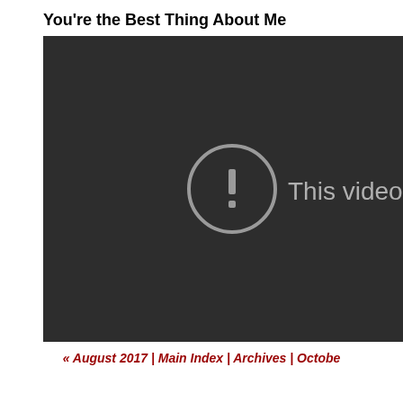You're the Best Thing About Me
[Figure (screenshot): Embedded video player showing a dark background with a circular exclamation mark icon and the text 'This video is privat' (cut off). The video is private and cannot be played.]
« August 2017 | Main Index | Archives | Octobe